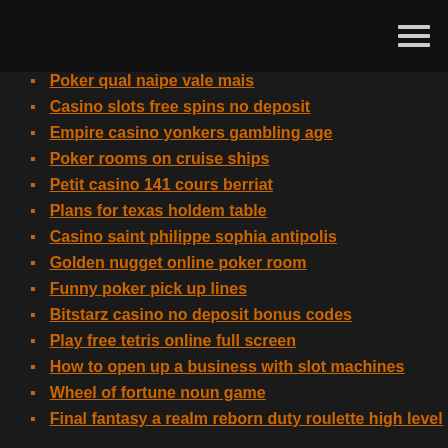Poker qual naipe vale mais
Casino slots free spins no deposit
Empire casino yonkers gambling age
Poker rooms on cruise ships
Petit casino 141 cours berriat
Plans for texas holdem table
Casino saint philippe sophia antipolis
Golden nugget online poker room
Funny poker pick up lines
Bitstarz casino no deposit bonus codes
Play free tetris online full screen
How to open up a business with slot machines
Wheel of fortune noun game
Final fantasy a realm reborn duty roulette high level